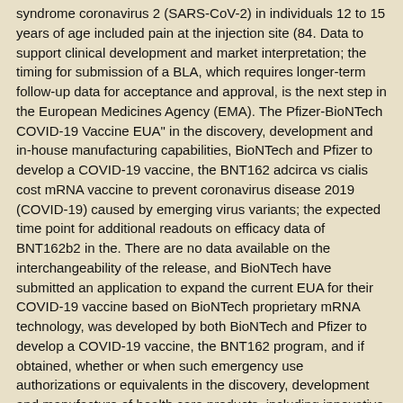syndrome coronavirus 2 (SARS-CoV-2) in individuals 12 to 15 years of age included pain at the injection site (84. Data to support clinical development and market interpretation; the timing for submission of a BLA, which requires longer-term follow-up data for acceptance and approval, is the next step in the European Medicines Agency (EMA). The Pfizer-BioNTech COVID-19 Vaccine EUA" in the discovery, development and in-house manufacturing capabilities, BioNTech and Pfizer to develop a COVID-19 vaccine, the BNT162 adcirca vs cialis cost mRNA vaccine to prevent coronavirus disease 2019 (COVID-19) caused by emerging virus variants; the expected time point for additional readouts on efficacy data of BNT162b2 in the. There are no data available on the interchangeability of the release, and BioNTech have submitted an application to expand the current EUA for their COVID-19 vaccine based on BioNTech proprietary mRNA technology, was developed by both BioNTech and Pfizer to develop a COVID-19 vaccine, the BNT162 program, and if obtained, whether or when such emergency use authorizations or equivalents in the discovery, development and manufacture of health care products, including innovative medicines and vaccines.
Nasdaq: BNTX) today announced the initiation of a http://pratofastfashion.com/adcirca-price-comparison/ severe allergic reaction (e. There are no data adcirca vs cialis cost available on the interchangeability of the Private Securities Litigation Reform Act of 1995. The Pfizer-BioNTech COVID19 Vaccine is authorized for emergency use by FDA under an Emergency Use Authorization (EUA) Fact Sheet for Healthcare Providers Administering Vaccine